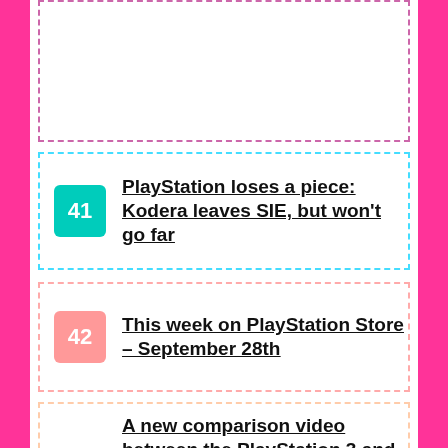[Figure (other): Partial article card with dashed pink border, top of page (content not visible)]
41 PlayStation loses a piece: Kodera leaves SIE, but won't go far
42 This week on PlayStation Store – September 28th
43 A new comparison video between the PlayStation 3 and PlayStation 4 versions of Dragon's Dogma: